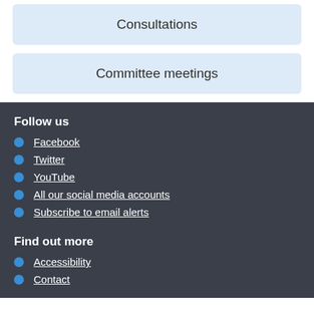Consultations
Committee meetings
Follow us
Facebook
Twitter
YouTube
All our social media accounts
Subscribe to email alerts
Find out more
Accessibility
Contact